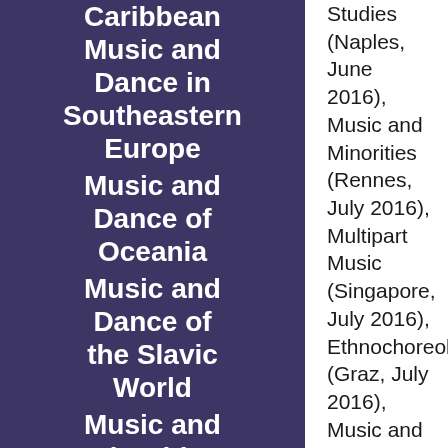Caribbean Music and Dance in Southeastern Europe
Music and Dance of Oceania
Music and Dance of the Slavic World
Music and Minorities
Music
Studies (Naples, June 2016), Music and Minorities (Rennes, July 2016), Multipart Music (Singapore, July 2016), Ethnochoreology (Graz, July 2016), Music and Gender (Bern, July 2016), Performing Arts of Southeast Asia (Penang, July-August 2016), Audiovisual Ethnomusicology (Ljubljana, August 2016), Musics of East Asia (Taipei, August 2016), Applied Ethnomusicology (Cape Breton, October 2016), Musics of the